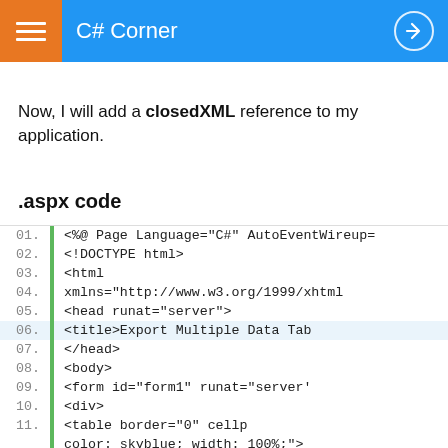C# Corner
Now, I will add a closedXML reference to my application.
.aspx code
[Figure (screenshot): Code block showing .aspx page source with line numbers 01-11, including HTML structure with DOCTYPE, html, head, body, form, div, and table tags, with a green left gutter bar]